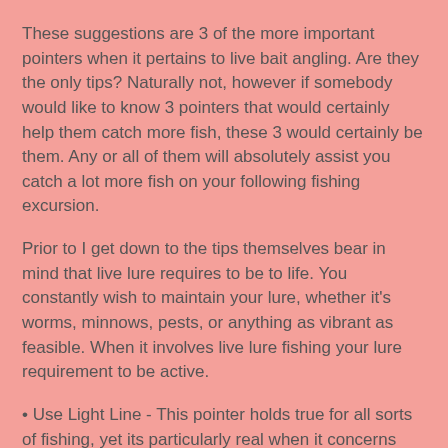These suggestions are 3 of the more important pointers when it pertains to live bait angling. Are they the only tips? Naturally not, however if somebody would like to know 3 pointers that would certainly help them catch more fish, these 3 would certainly be them. Any or all of them will absolutely assist you catch a lot more fish on your following fishing excursion.
Prior to I get down to the tips themselves bear in mind that live lure requires to be to life. You constantly wish to maintain your lure, whether it's worms, minnows, pests, or anything as vibrant as feasible. When it involves live lure fishing your lure requirement to be active.
• Use Light Line - This pointer holds true for all sorts of fishing, yet its particularly real when it concerns live lure fishing. When the fish looks at the lure, you do not desire them to see your line. The lighter your line, the less visible your line will certainly be to the fish. This pointer is specifically true when fishing in clear water scenarios. The use of light line isn't as essential in stained or sloppy water